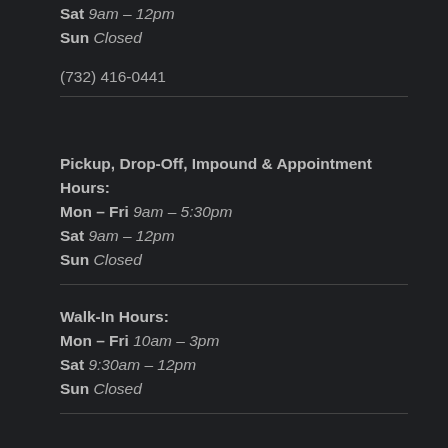Sat 9am – 12pm
Sun Closed
(732) 416-0441
Pickup, Drop-Off, Impound & Appointment Hours:
Mon – Fri 9am – 5:30pm
Sat 9am – 12pm
Sun Closed
Walk-In Hours:
Mon – Fri 10am – 3pm
Sat 9:30am – 12pm
Sun Closed
Badge Cloud